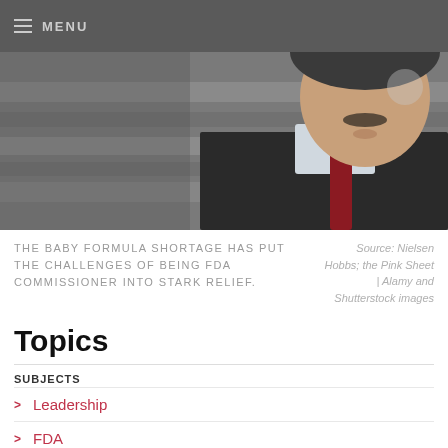MENU
[Figure (photo): Grayscale close-up photo of a man with a moustache wearing a pinstripe suit and red tie]
THE BABY FORMULA SHORTAGE HAS PUT THE CHALLENGES OF BEING FDA COMMISSIONER INTO STARK RELIEF. Source: Nielsen Hobbs; the Pink Sheet | Alamy and Shutterstock images
Topics
SUBJECTS
Leadership
FDA
Manufacturing